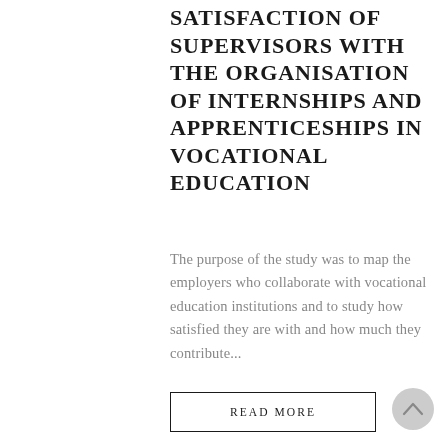SATISFACTION OF SUPERVISORS WITH THE ORGANISATION OF INTERNSHIPS AND APPRENTICESHIPS IN VOCATIONAL EDUCATION
The purpose of the study was to map the employers who collaborate with vocational education institutions and to study how satisfied they are with and how much they contribute...
READ MORE